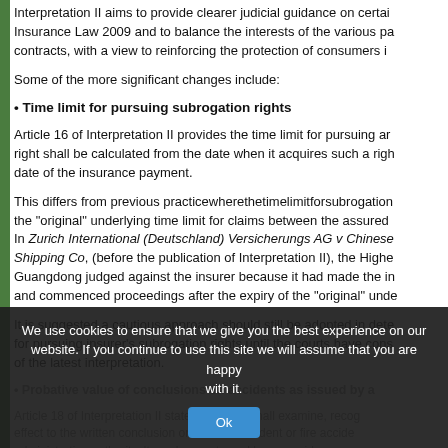Interpretation II aims to provide clearer judicial guidance on certain aspects of the Insurance Law 2009 and to balance the interests of the various parties to insurance contracts, with a view to reinforcing the protection of consumers in insurance.
Some of the more significant changes include:
Time limit for pursuing subrogation rights
Article 16 of Interpretation II provides the time limit for pursuing an insurer's subrogation right shall be calculated from the date when it acquires such a right, i.e. from the date of the insurance payment.
This differs from previous practice where the time limit for subrogation was based on the "original" underlying time limit for claims between the assured and the third party. In Zurich International (Deutschland) Versicherungs AG v Chinese Ocean Shipping Co, (before the publication of Interpretation II), the Higher People's Court of Guangdong judged against the insurer because it had made the insurance payment and commenced proceedings after the expiry of the "original" underlying time limit.
It is suggested a cautious approach should still be adopted in determining the time limit for pursuing insurer's subrogation rights until the courts have considered the impact of the latest interpretation.
Probative value of conclusions on accidents as issued by a competent authority
Article 18 of Interpretation II states the court shall examine, recognise and give effect to the written conclusion on a traffic accident or fire accident issued by an administrative authority. It can be overturned by any evidence...